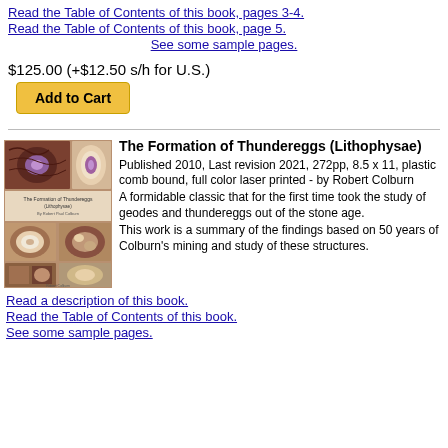Read the Table of Contents of this book, pages 3-4.
Read the Table of Contents of this book, page 5.
See some sample pages.
$125.00 (+$12.50 s/h for U.S.)
[Figure (other): Add to Cart button with yellow background]
[Figure (photo): Book cover of The Formation of Thundereggs (Lithophysae) showing photographs of geodes and thundereggs]
The Formation of Thundereggs (Lithophysae)
Published 2010, Last revision 2021, 272pp, 8.5 x 11, plastic comb bound, full color laser printed - by Robert Colburn
A formidable classic that for the first time took the study of geodes and thundereggs out of the stone age.
This work is a summary of the findings based on 50 years of Colburn's mining and study of these structures.
Read a description of this book.
Read the Table of Contents of this book.
See some sample pages.